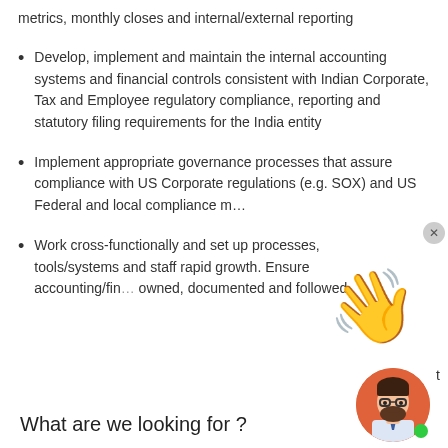metrics, monthly closes and internal/external reporting
Develop, implement and maintain the internal accounting systems and financial controls consistent with Indian Corporate, Tax and Employee regulatory compliance, reporting and statutory filing requirements for the India entity
Implement appropriate governance processes that assure compliance with US Corporate regulations (e.g. SOX) and US Federal and local compliance m…
Work cross-functionally and set up processes, tools/systems and staff … t rapid growth. Ensure accounting/fin… owned, documented and followed
[Figure (illustration): Waving hand emoji (👋) yellow color, large size]
[Figure (illustration): Avatar illustration of a bearded man with glasses, on orange circular background, with green online indicator dot]
What are we looking for ?